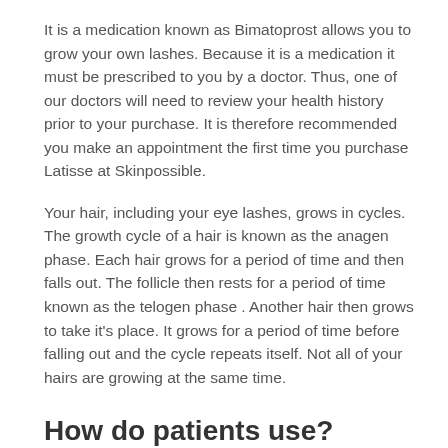It is a medication known as Bimatoprost allows you to grow your own lashes. Because it is a medication it must be prescribed to you by a doctor. Thus, one of our doctors will need to review your health history prior to your purchase. It is therefore recommended you make an appointment the first time you purchase Latisse at Skinpossible.
Your hair, including your eye lashes, grows in cycles. The growth cycle of a hair is known as the anagen phase. Each hair grows for a period of time and then falls out. The follicle then rests for a period of time known as the telogen phase . Another hair then grows to take it's place. It grows for a period of time before falling out and the cycle repeats itself. Not all of your hairs are growing at the same time.
How do patients use?